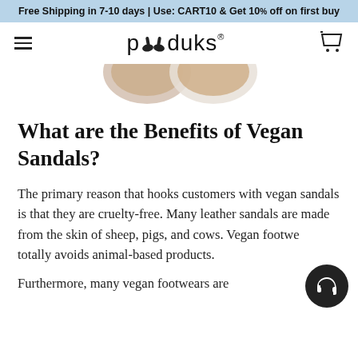Free Shipping in 7-10 days | Use: CART10 & Get 10% off on first buy
[Figure (logo): Paduks brand logo with flip flop icons and brand name 'paduks' with registered trademark]
[Figure (photo): Partial product image showing sandals at the top of the content area]
What are the Benefits of Vegan Sandals?
The primary reason that hooks customers with vegan sandals is that they are cruelty-free. Many leather sandals are made from the skin of sheep, pigs, and cows. Vegan footwear totally avoids animal-based products.
Furthermore, many vegan footwears are